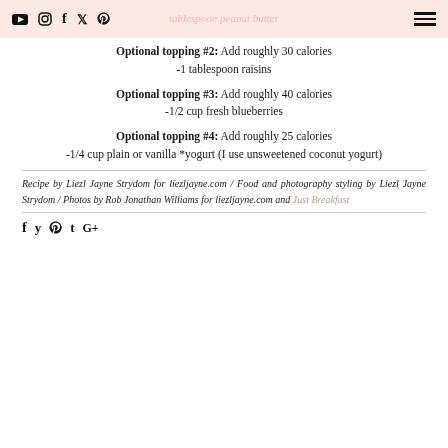tablespoon peanut butter
Optional topping #2: Add roughly 30 calories
-1 tablespoon raisins
Optional topping #3: Add roughly 40 calories
-1/2 cup fresh blueberries
Optional topping #4: Add roughly 25 calories
-1/4 cup plain or vanilla *yogurt (I use unsweetened coconut yogurt)
Recipe by Liezl Jayne Strydom for liezljayne.com / Food and photography styling by Liezl Jayne Strydom / Photos by Rob Jonathan Williams for liezljayne.com and Just Breakfast
f y @ t G+